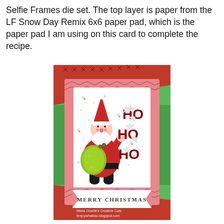Selfie Frames die set. The top layer is paper from the LF Snow Day Remix 6x6 paper pad, which is the paper pad I am using on this card to complete the recipe.
[Figure (photo): A Christmas card featuring Santa Claus holding a glittery green bag, with red 'HO HO HO' letters and star embellishments. The card has a pink chevron-patterned border frame, a white interior with snowflake pattern, and a banner at the bottom reading 'MERRY CHRISTMAS'. The card is displayed against a red and green Christmas-themed background with tree patterns. Watermark reads 'Maria Giselle's Creative Cuts ienjoywhatido.blogspot.com'.]